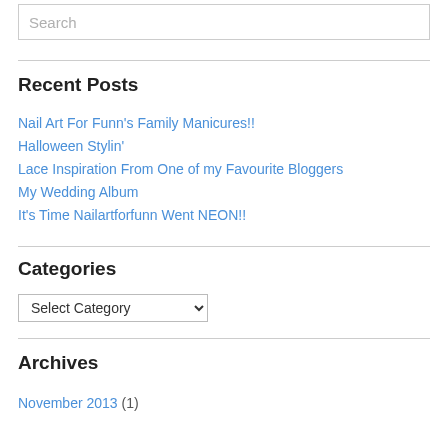Search
Recent Posts
Nail Art For Funn's Family Manicures!!
Halloween Stylin'
Lace Inspiration From One of my Favourite Bloggers
My Wedding Album
It's Time Nailartforfunn Went NEON!!
Categories
Select Category
Archives
November 2013 (1)